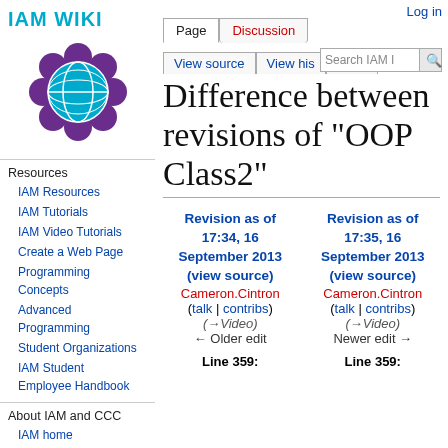Log in
IAM WIKI
[Figure (logo): IAM Wiki globe/flower logo in purple and teal]
Resources
IAM Resources
IAM Tutorials
IAM Video Tutorials
Create a Web Page
Programming Concepts
Advanced Programming
Student Organizations
IAM Student Employee Handbook
About IAM and CCC
IAM home
Difference between revisions of "OOP Class2"
| Revision as of 17:34, 16 September 2013 (view source) | Revision as of 17:35, 16 September 2013 (view source) |
| --- | --- |
| Cameron.Cintron | Cameron.Cintron |
| (talk | contribs) | (talk | contribs) |
| (→Video) | (→Video) |
| ← Older edit | Newer edit → |
| Line 359: | Line 359: |